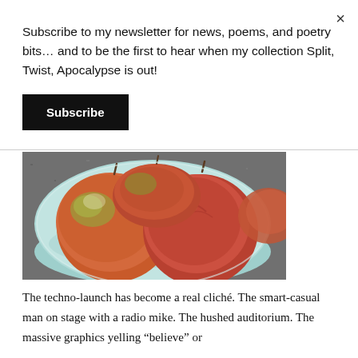Subscribe to my newsletter for news, poems, and poetry bits… and to be the first to hear when my collection Split, Twist, Apocalypse is out!
Subscribe
[Figure (photo): A bowl of red and green apples viewed from above, sitting on a dark granite countertop. The bowl is light blue/teal colored.]
The techno-launch has become a real cliché. The smart-casual man on stage with a radio mike. The hushed auditorium. The massive graphics yelling “believe” or